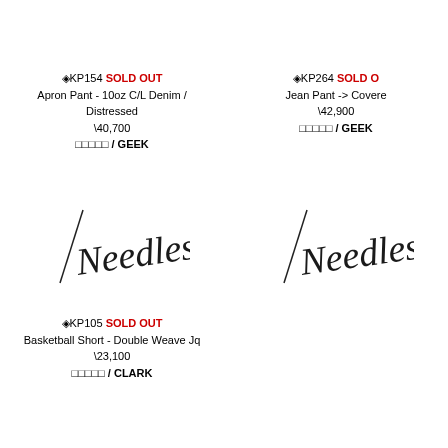KP154 SOLD OUT
Apron Pant - 10oz C/L Denim / Distressed
\40,700
ショップ / GEEK
[Figure (logo): Needles brand cursive script logo, left column]
KP264 SOLD OUT
Jean Pant -> Covered...
\42,900
ショップ / GEEK
[Figure (logo): Needles brand cursive script logo, right column]
KP105 SOLD OUT
Basketball Short - Double Weave Jq
\23,100
ショップ / CLARK